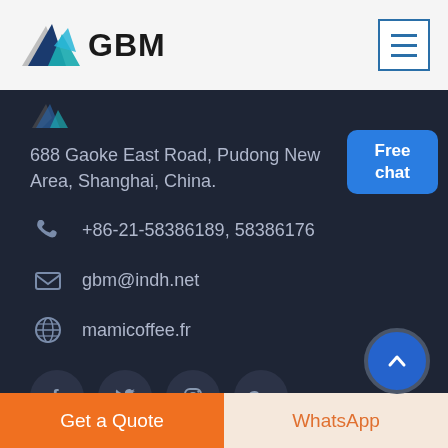[Figure (logo): GBM company logo with blue/teal mountain/arrow graphic and bold GBM text]
[Figure (other): Hamburger menu icon button with three horizontal blue lines in a square border]
688 Gaoke East Road, Pudong New Area, Shanghai, China.
+86-21-58386189, 58386176
gbm@indh.net
mamicoffee.fr
[Figure (other): Social media icons row: Facebook, Twitter, Instagram, Google+]
[Figure (other): Free chat button/badge in blue]
[Figure (other): Back to top circular blue button with upward chevron]
Get a Quote
WhatsApp